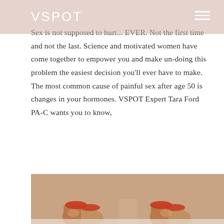VSPOT
Sex is not supposed to hurt... EVER. Not the first time and not the last. Science and motivated women have come together to empower you and make un-doing this problem the easiest decision you'll ever have to make. The most common cause of painful sex after age 50 is changes in your hormones. VSPOT Expert Tara Ford PA-C wants you to know,
READ MORE
[Figure (photo): Two women seated closely together, legs visible, wearing red/orange bottoms against a beige/tan background]